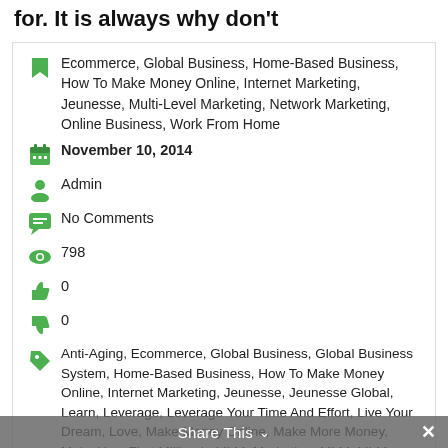for. It is always why don't
Ecommerce, Global Business, Home-Based Business, How To Make Money Online, Internet Marketing, Jeunesse, Multi-Level Marketing, Network Marketing, Online Business, Work From Home
November 10, 2014
Admin
No Comments
798
0
0
Anti-Aging, Ecommerce, Global Business, Global Business System, Home-Based Business, How To Make Money Online, Internet Marketing, Jeunesse, Jeunesse Global, Learn, Leverage, Leverage Your Time And Effort, Live Your Dream, Love, Make Money Online, Make More Money, Make Your First Million In MLM, Marketing, MLM, MLM Made Simple, Money, Multi-Level Marketing, Network Marketing, Online Marketing, Reserve, Resveratrol, Reverse